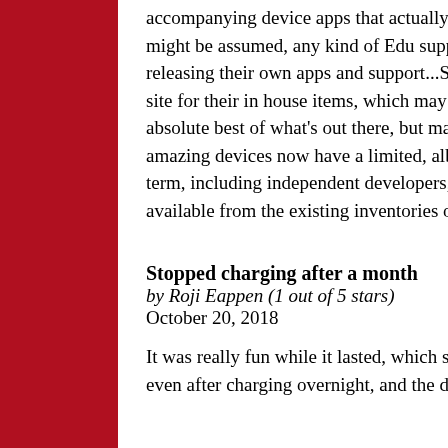accompanying device apps that actually control them, only until the end of 2020. This includes, it might be assumed, any kind of Edu support. One hopes that independent aficionados will begin releasing their own apps and support...Sphero offers Android interface documentation on their Edu site for their in house items, which may offer an inroad to independent developers. So, yes, its the absolute best of what's out there, but manufacturer support has an end date. On the upside, these amazing devices now have a limited, albeit still seemingly huge, availability. Buyers thinking long term, including independent developers, may want to pick up several of each while they're still available from the existing inventories of the several sellers on amazon.
↔ [] ↔
Stopped charging after a month
by Roji Eappen (1 out of 5 stars)
October 20, 2018
It was really fun while it lasted, which sadly wasn't too long. The red charging light always blinks even after charging overnight, and the droid doesn't respond to the app anymore.